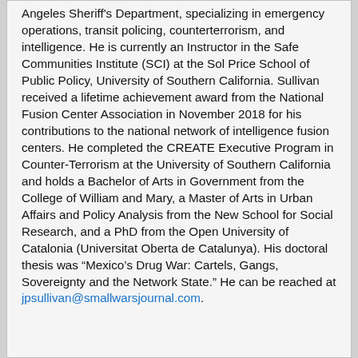Angeles Sheriff's Department, specializing in emergency operations, transit policing, counterterrorism, and intelligence. He is currently an Instructor in the Safe Communities Institute (SCI) at the Sol Price School of Public Policy, University of Southern California. Sullivan received a lifetime achievement award from the National Fusion Center Association in November 2018 for his contributions to the national network of intelligence fusion centers. He completed the CREATE Executive Program in Counter-Terrorism at the University of Southern California and holds a Bachelor of Arts in Government from the College of William and Mary, a Master of Arts in Urban Affairs and Policy Analysis from the New School for Social Research, and a PhD from the Open University of Catalonia (Universitat Oberta de Catalunya). His doctoral thesis was “Mexico’s Drug War: Cartels, Gangs, Sovereignty and the Network State.” He can be reached at jpsullivan@smallwarsjournal.com.